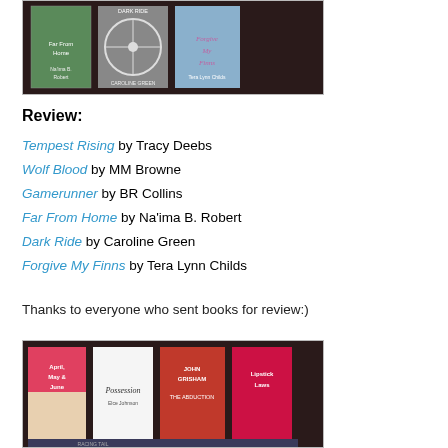[Figure (photo): Photo of book covers including Far From Home, Dark Ride, and Forgive My Finns arranged on a dark surface]
Review:
Tempest Rising by Tracy Deebs
Wolf Blood by MM Browne
Gamerunner by BR Collins
Far From Home by Na'ima B. Robert
Dark Ride by Caroline Green
Forgive My Finns by Tera Lynn Childs
Thanks to everyone who sent books for review:)
[Figure (photo): Photo of book covers including April May & June, Possession, John Grisham The Abduction, and Lipstick Laws arranged on a dark surface]